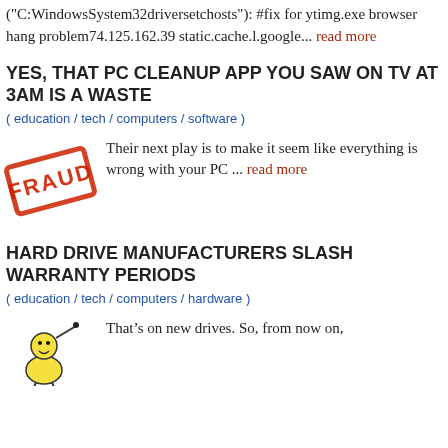("C:WindowsSystem32driversetchosts"): #fix for ytimg.exe browser hang problem74.125.162.39 static.cache.l.google... read more
YES, THAT PC CLEANUP APP YOU SAW ON TV AT 3AM IS A WASTE
( education / tech / computers / software )
[Figure (illustration): FRAUD rubber stamp image rotated diagonally]
Their next play is to make it seem like everything is wrong with your PC ... read more
HARD DRIVE MANUFACTURERS SLASH WARRANTY PERIODS
( education / tech / computers / hardware )
[Figure (illustration): Small cartoon image of a character with a megaphone or similar device]
That’s on new drives. So, from now on,